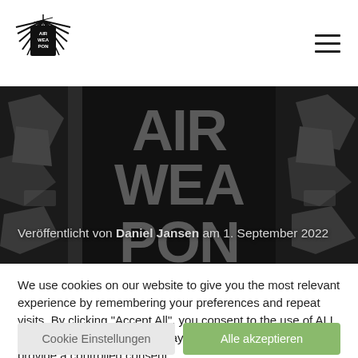AIR WEAPON logo and hamburger menu
[Figure (screenshot): Hero image with dark background showing large text 'AIR WEA PON' in bold gray letters on black background with camouflage-like decorative figures on the sides]
Veröffentlicht von Daniel Jansen am 1. September 2022
We use cookies on our website to give you the most relevant experience by remembering your preferences and repeat visits. By clicking "Accept All", you consent to the use of ALL the cookies. However, you may visit "Cookie Settings" to provide a controlled consent.
Cookie Einstellungen
Alle akzeptieren